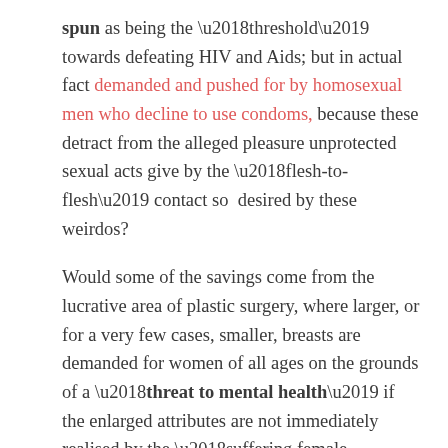spun as being the 'threshold' towards defeating HIV and Aids; but in actual fact demanded and pushed for by homosexual men who decline to use condoms, because these detract from the alleged pleasure unprotected sexual acts give by the 'flesh-to-flesh' contact so  desired by these weirdos?
Would some of the savings come from the lucrative area of plastic surgery, where larger, or for a very few cases, smaller, breasts are demanded for women of all ages on the grounds of a 'threat to mental health' if the enlarged attributes are not immediately realised by the 'suffering female patient'?
The 'lockdown' has meant the separation of all sixty-odd million of us, all separated into our own individual spaces. It has been hard, but with technology, with a